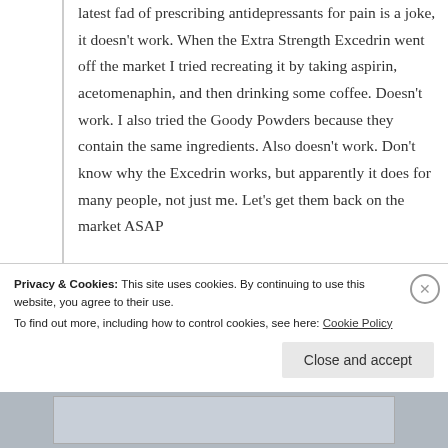latest fad of prescribing antidepressants for pain is a joke, it doesn't work. When the Extra Strength Excedrin went off the market I tried recreating it by taking aspirin, acetomenaphin, and then drinking some coffee. Doesn't work. I also tried the Goody Powders because they contain the same ingredients. Also doesn't work. Don't know why the Excedrin works, but apparently it does for many people, not just me. Let's get them back on the market ASAP
★ Like
Privacy & Cookies: This site uses cookies. By continuing to use this website, you agree to their use.
To find out more, including how to control cookies, see here: Cookie Policy
Close and accept